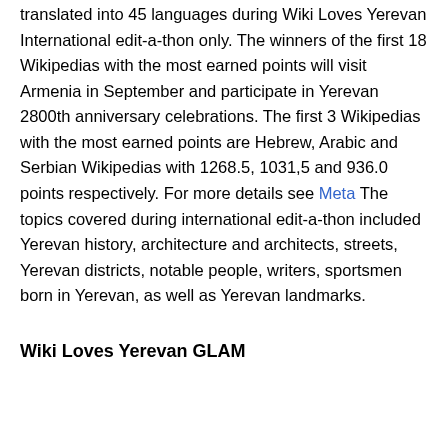translated into 45 languages during Wiki Loves Yerevan International edit-a-thon only. The winners of the first 18 Wikipedias with the most earned points will visit Armenia in September and participate in Yerevan 2800th anniversary celebrations. The first 3 Wikipedias with the most earned points are Hebrew, Arabic and Serbian Wikipedias with 1268.5, 1031,5 and 936.0 points respectively. For more details see Meta The topics covered during international edit-a-thon included Yerevan history, architecture and architects, streets, Yerevan districts, notable people, writers, sportsmen born in Yerevan, as well as Yerevan landmarks.
Wiki Loves Yerevan GLAM